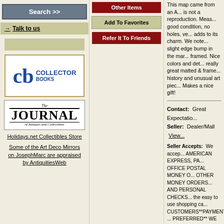[Figure (screenshot): Search >> button (gray/blue)]
→ Talk to us
[Figure (logo): Collector Books logo with cb letters in blue]
[Figure (logo): The Journal of Antiques and Collectibles logo]
Holidays.net Collectibles Store
Some of the Art Deco Mirrors on JosephMarc are appraised by AntiquitiesWeb
[Figure (screenshot): Other Items button (dark red)]
[Figure (screenshot): Add To Favorites button (khaki/tan)]
[Figure (screenshot): Refer It To Friends button (dark red)]
This map came from an A... is not a reproduction. Meas... good condition, no holes, ve... adds to its charm. We note... slight edge bump in the mar... framed. Nice colors and det... really great matted & frame... history and unusual art piec... Makes a nice gift!
Contact: Great Expectatio...
Seller: Dealer/Mall View...
Seller Accepts: We accep... AMERICAN EXPRESS, PA... OFFICE POSTAL MONEY O... OTHER MONEY ORDERS... AND PERSONAL CHECKS... the easy to use shopping ca... CUSTOMERS**PAYMENT ... PREFERRED** WE ONLY A... INTERNATIONAL POST OR... ORDERS - PURCHASED A... POST OFFICE - IN US DO... MONEY ORDERS WILL BE... INTERNATIONAL CUSTO... TAXES, BROKERAGE FEE... THE BUYER**